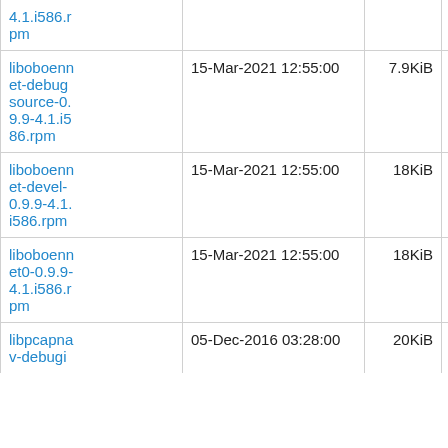| Name | Date | Size |  |
| --- | --- | --- | --- |
| 4.1.i586.rpm |  |  |  |
| libopennet-debugsource-0.9.9-4.1.i586.rpm | 15-Mar-2021 12:55:00 | 7.9KiB | Details |
| libopennet-devel-0.9.9-4.1.i586.rpm | 15-Mar-2021 12:55:00 | 18KiB | Details |
| libopennet0-0.9.9-4.1.i586.rpm | 15-Mar-2021 12:55:00 | 18KiB | Details |
| libpcapnav-debugi | 05-Dec-2016 03:28:00 | 20KiB | Details |